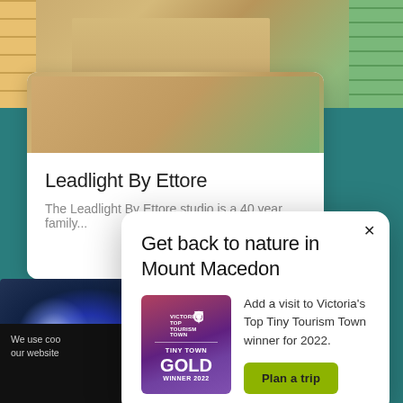[Figure (photo): Wooden table/desk with legs visible and a mat on the floor, green shelving on the right side visible in background]
Leadlight By Ettore
The Leadlight By Ettore studio is a 40 year family...
[Figure (photo): Dark blue/purple glowing photo, possibly night sky or illuminated object]
We use coo our website
Get back to nature in Mount Macedon
[Figure (logo): Victorian Top Tourism Town - Tiny Town Gold Winner 2022 badge/logo with purple/pink gradient background and white text]
Add a visit to Victoria's Top Tiny Tourism Town winner for 2022.
Plan a trip